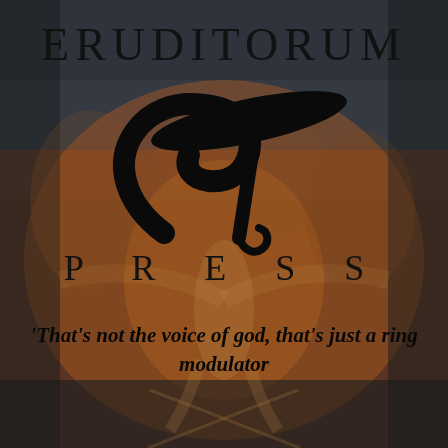[Figure (logo): Eruditorum Press logo with stylized 'EP' monogram in black over a dark background featuring a painterly illustration of a figure with outstretched arms. The word ERUDITORUM appears at the top, a large calligraphic EP logo in the center, PRESS in spaced capitals below, and an italic tagline at the bottom.]
ERUDITORUM
PRESS
'That's not the voice of god, that's just a ring modulator